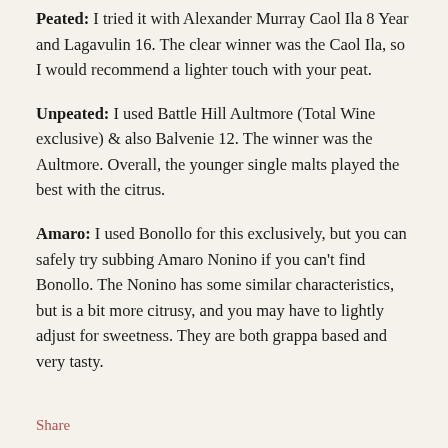Peated: I tried it with Alexander Murray Caol Ila 8 Year and Lagavulin 16. The clear winner was the Caol Ila, so I would recommend a lighter touch with your peat.
Unpeated: I used Battle Hill Aultmore (Total Wine exclusive) & also Balvenie 12. The winner was the Aultmore. Overall, the younger single malts played the best with the citrus.
Amaro: I used Bonollo for this exclusively, but you can safely try subbing Amaro Nonino if you can't find Bonollo. The Nonino has some similar characteristics, but is a bit more citrusy, and you may have to lightly adjust for sweetness. They are both grappa based and very tasty.
Share